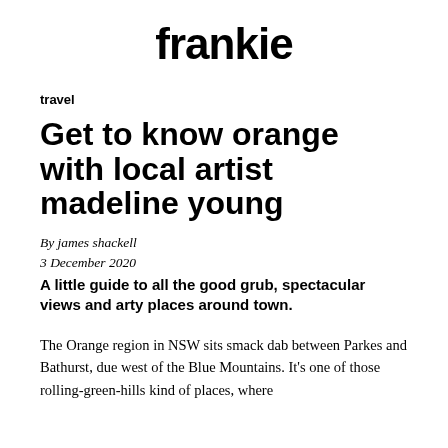frankie
travel
Get to know orange with local artist madeline young
By james shackell
3 December 2020
A little guide to all the good grub, spectacular views and arty places around town.
The Orange region in NSW sits smack dab between Parkes and Bathurst, due west of the Blue Mountains. It's one of those rolling-green-hills kind of places, where